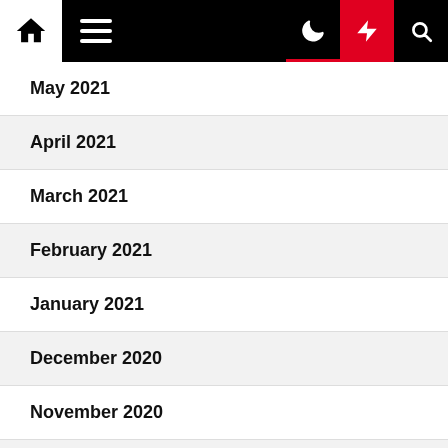Navigation bar with home, menu, moon, lightning, and search icons
May 2021
April 2021
March 2021
February 2021
January 2021
December 2020
November 2020
October 2020
August 2020